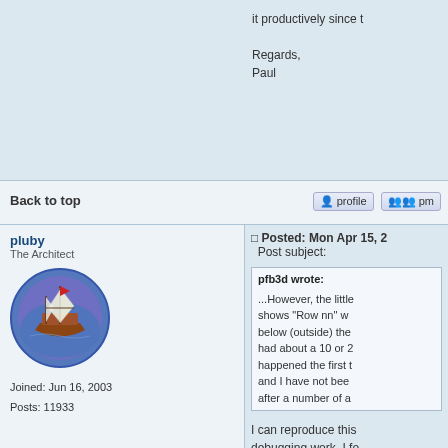it productively since t

Regards,
Paul
Back to top
pluby
The Architect
[Figure (illustration): Avatar of a sailing ship on a blue/purple background, circular icon]
Joined: Jun 16, 2003
Posts: 11933
Posted: Mon Apr 15, 2
Post subject:
pfb3d wrote:
...However, the little shows "Row nn" w below (outside) the had about a 10 or 2 happened the first t and I have not bee after a number of a
I can reproduce this debugging work, I fo underlying OpenOffic screen coordinates i events. Strangely, th of the NeoOffice win window. In such case